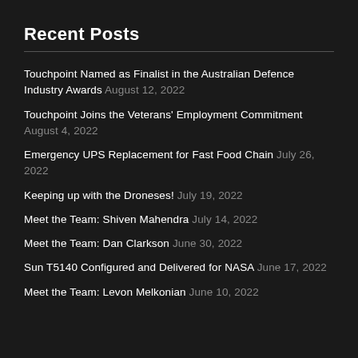Recent Posts
Touchpoint Named as Finalist in the Australian Defence Industry Awards August 12, 2022
Touchpoint Joins the Veterans' Employment Commitment August 4, 2022
Emergency UPS Replacement for Fast Food Chain July 26, 2022
Keeping up with the Droneses! July 19, 2022
Meet the Team: Shiven Mahendra July 14, 2022
Meet the Team: Dan Clarkson June 30, 2022
Sun T5140 Configured and Delivered for NASA June 17, 2022
Meet the Team: Levon Melkonian June 10, 2022